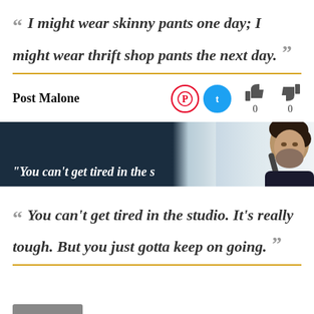“ I might wear skinny pants one day; I might wear thrift shop pants the next day. ”
Post Malone
[Figure (infographic): Banner image with dark navy background on left, fading to light blue/white gradient, with a partial photo of Post Malone's face on the right side. Bold italic text partially visible at bottom.]
“ You can’t get tired in the studio. It’s really tough. But you just gotta keep on going. ”